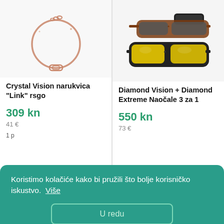[Figure (illustration): Rose gold bracelet with link design on white background]
Crystal Vision narukvica "Link" rsgo
309 kn
41 €
1 p
[Figure (photo): Set of sunglasses including black frame with yellow lenses and other styles with cases on white background]
Diamond Vision + Diamond Extreme Naočale 3 za 1
550 kn
73 €
Koristimo kolačiće kako bi pružili što bolje korisničko iskustvo.  Više
U redu